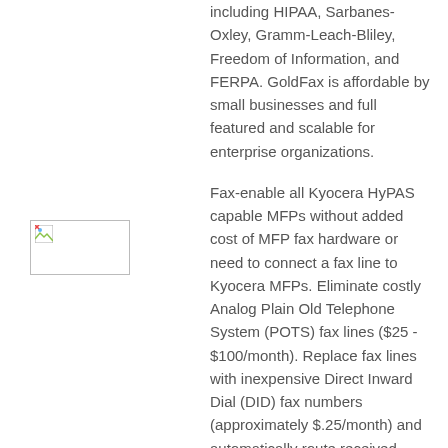including HIPAA, Sarbanes-Oxley, Gramm-Leach-Bliley, Freedom of Information, and FERPA. GoldFax is affordable by small businesses and full featured and scalable for enterprise organizations.
[Figure (other): Broken/loading image placeholder thumbnail]
GoldFax
Fax enabled HyPAS MFPs without MFP fax hardware or fax telephone line – it's small business affordable and
Fax-enable all Kyocera HyPAS capable MFPs without added cost of MFP fax hardware or need to connect a fax line to Kyocera MFPs. Eliminate costly Analog Plain Old Telephone System (POTS) fax lines ($25 - $100/month). Replace fax lines with inexpensive Direct Inward Dial (DID) fax numbers (approximately $.25/month) and automatically route received faxes to assigned users email. GoldFax pays for